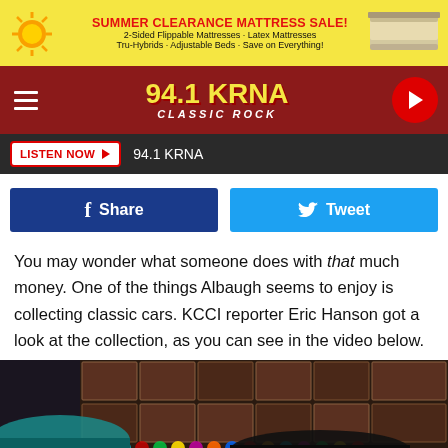[Figure (illustration): Yellow advertisement banner for Summer Clearance Mattress Sale with sun graphic and mattress image]
[Figure (logo): 94.1 KRNA Classic Rock radio station header with hamburger menu and play button]
[Figure (screenshot): Dark bar with LISTEN NOW button and 94.1 KRNA text]
[Figure (infographic): Facebook Share and Twitter Tweet buttons]
You may wonder what someone does with that much money. One of the things Albaugh seems to enjoy is collecting classic cars. KCCI reporter Eric Hanson got a look at the collection, as you can see in the video below.
[Figure (photo): Classic car collection display with colorful lights and framed prints in background]